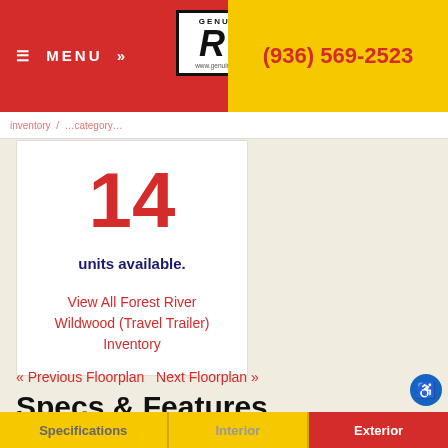≡ MENU »  (936) 569-2523
14
units available.
View All Forest River Wildwood (Travel Trailer) Inventory
« Previous Floorplan  Next Floorplan »
Specs & Features
Change Floorplan:
27RE
TEXT SALES!
Specifications  Interior  Exterior